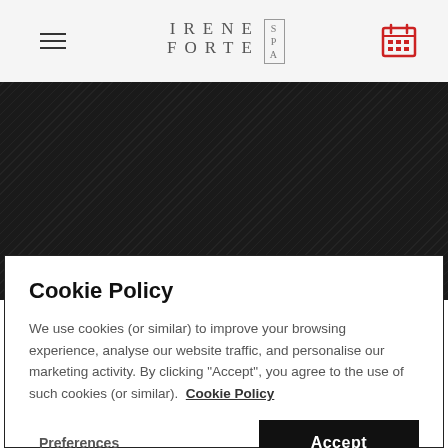IRENE FORTE SPA — navigation header with hamburger menu and calendar icon
[Figure (screenshot): Dark diagonal-striped hero image area with black/dark charcoal background]
Cookie Policy
We use cookies (or similar) to improve your browsing experience, analyse our website traffic, and personalise our marketing activity. By clicking "Accept", you agree to the use of such cookies (or similar). Cookie Policy
Preferences | Accept